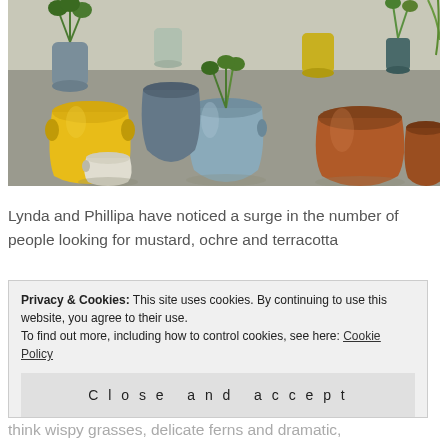[Figure (photo): A collection of glazed ceramic pots and vases in various colors — yellow/mustard, blue-grey, terracotta/brown, and white/cream — arranged on a grey concrete floor, many containing green plants. Indoor setting with natural light.]
Lynda and Phillipa have noticed a surge in the number of people looking for mustard, ochre and terracotta
Privacy & Cookies: This site uses cookies. By continuing to use this website, you agree to their use.
To find out more, including how to control cookies, see here: Cookie Policy
Close and accept
think wispy grasses, delicate ferns and dramatic,